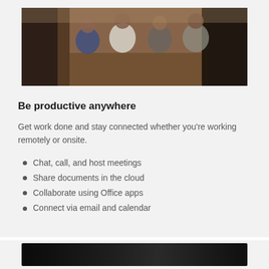[Figure (photo): Photo of a group of people sitting around a wooden table in what appears to be a cafe or co-working space, viewed from behind/side angle, warm brown tones.]
Be productive anywhere
Get work done and stay connected whether you're working remotely or onsite.
Chat, call, and host meetings
Share documents in the cloud
Collaborate using Office apps
Connect via email and calendar
[Figure (photo): Bottom portion of a dark/black photo, partially visible at the bottom of the page.]